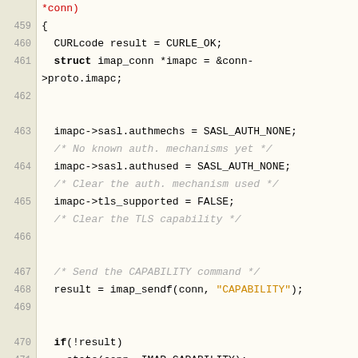[Figure (screenshot): Source code listing in C showing imap connection setup function, lines 459-477, with syntax highlighting: keywords in bold, strings in orange, comments in light gray italic, and some tokens in red.]